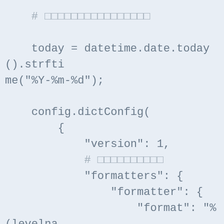# 日本語コメント
    today = datetime.date.today().strftime("%Y-%m-%d");

    config.dictConfig(
        {
            "version": 1,
            # 日本語コメント
            "formatters": {
                "formatter": {
                    "format": "%(levelname)s  %(asctime)s [%(module)s] %(message)s"
                }